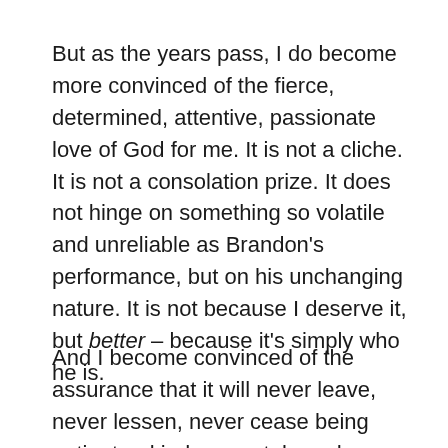But as the years pass, I do become more convinced of the fierce, determined, attentive, passionate love of God for me. It is not a cliche. It is not a consolation prize. It does not hinge on something so volatile and unreliable as Brandon's performance, but on his unchanging nature. It is not because I deserve it, but better – because it's simply who he is.
And I become convinced of the assurance that it will never leave, never lessen, never cease being patient or kind, never take a day